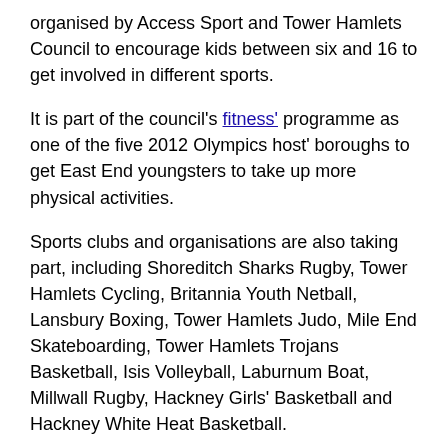organised by Access Sport and Tower Hamlets Council to encourage kids between six and 16 to get involved in different sports.
It is part of the council's fitness' programme as one of the five 2012 Olympics host' boroughs to get East End youngsters to take up more physical activities.
Sports clubs and organisations are also taking part, including Shoreditch Sharks Rugby, Tower Hamlets Cycling, Britannia Youth Netball, Lansbury Boxing, Tower Hamlets Judo, Mile End Skateboarding, Tower Hamlets Trojans Basketball, Isis Volleyball, Laburnum Boat, Millwall Rugby, Hackney Girls' Basketball and Hackney White Heat Basketball.
The free event is being staged on Wennington Green in Mile End Park, on the corner of Roman Road and Grove Road, from 12-noon to 4pm on October 4.